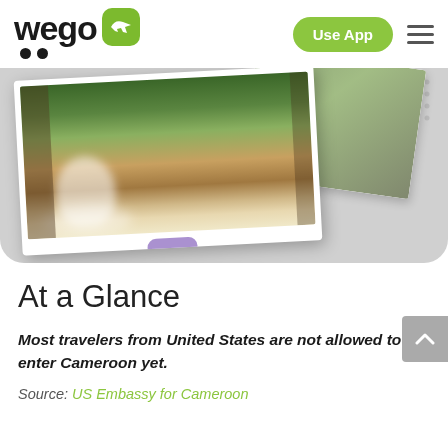wego | Use App
[Figure (photo): A travel app screenshot showing a waterfall photo card pinned with a purple sticker on a light gray background, with decorative dot pattern on the right side.]
At a Glance
Most travelers from United States are not allowed to enter Cameroon yet.
Source: US Embassy for Cameroon